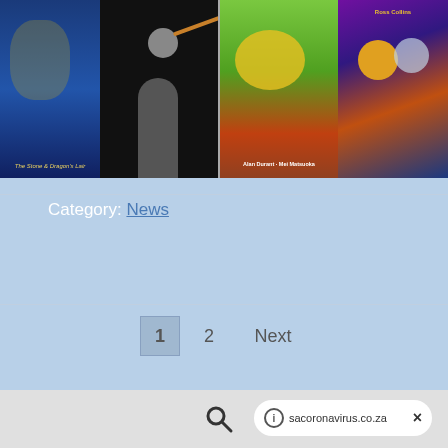[Figure (photo): Strip of images showing book covers and a person presenting on stage. Left section shows illustrated book covers with blue/space theme and a person in dark clothing gesturing on stage. Right section shows two colorful children's book covers - one with a hamburger character by Alan Durant and Mei Matsuoka, and another with monster characters by Ross Collins.]
Category: News
1  2  Next
sacoronavirus.co.za